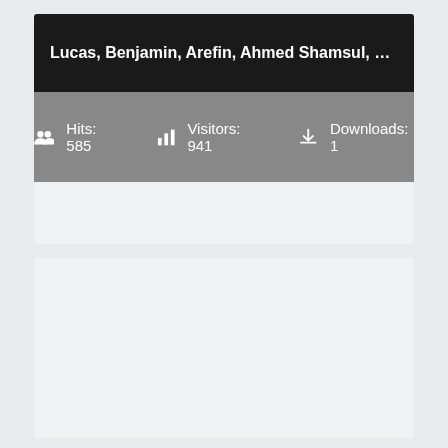Lucas, Benjamin, Arefin, Ahmed Shamsul, de Vries, N...
Hits: 585   Visitors: 941   Downloads: 1